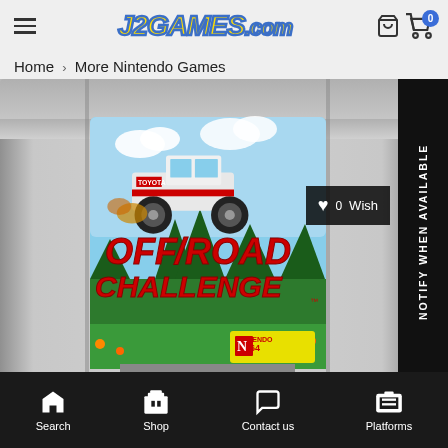[Figure (logo): J2Games.com logo in yellow and blue]
Home > More Nintendo Games
[Figure (photo): Nintendo 64 cartridge of Off Road Challenge game showing a Toyota truck jumping in the air with the game title in red 3D letters]
NOTIFY WHEN AVAILABLE
♥ 0  Wish
Search
Shop
Contact us
Platforms